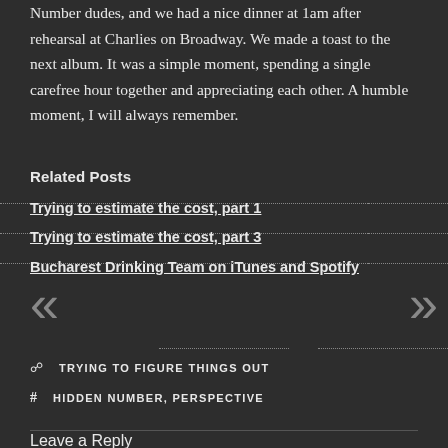Number dudes, and we had a nice dinner at 1am after rehearsal at Charlies on Broadway. We made a toast to the next album. It was a simple moment, spending a single carefree hour together and appreciating each other. A humble moment, I will always remember.
Related Posts
Trying to estimate the cost, part 1
Trying to estimate the cost, part 3
Bucharest Drinking Team on iTunes and Spotify
TRYING TO FIGURE THINGS OUT
HIDDEN NUMBER, PERSPECTIVE
Leave a Reply